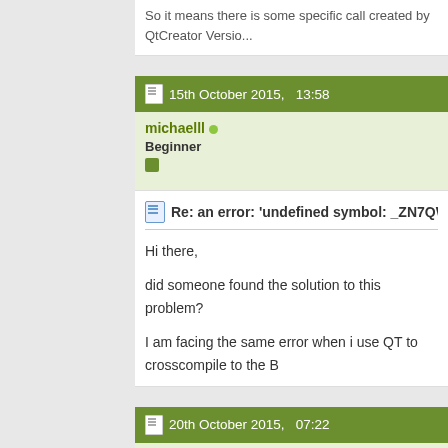So it means there is some specific call created by QtCreator Versio...
15th October 2015,  13:58
michaelll
Beginner
Re: an error: 'undefined symbol: _ZN7QWidget8qwsEventEP8...
Hi there,

did someone found the solution to this problem?

I am facing the same error when i use QT to crosscompile to the B...
20th October 2015,  07:22
Chrigou
Beginner